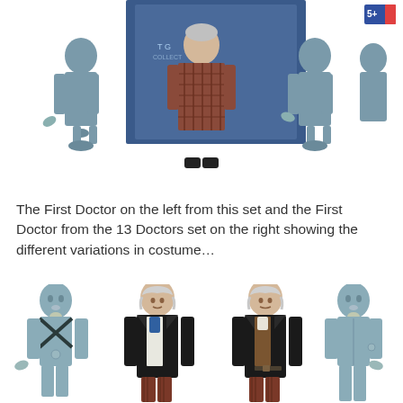[Figure (photo): Photo of action figures from a Doctor Who toy set, showing multiple figures including blue/grey alien figures and a figure with brown checked trousers, displayed against a blue box background. '5+' age label visible in top right corner.]
The First Doctor on the left from this set and the First Doctor from the 13 Doctors set on the right showing the different variations in costume…
[Figure (photo): Photo of four Doctor Who action figures on white background: two blue/grey bald alien figures (one with cross-body straps, one holding a device), and two First Doctor figures in black coat with different waistcoat and cravat details — one with blue cravat/white waistcoat (left) and one with brown waistcoat (right).]